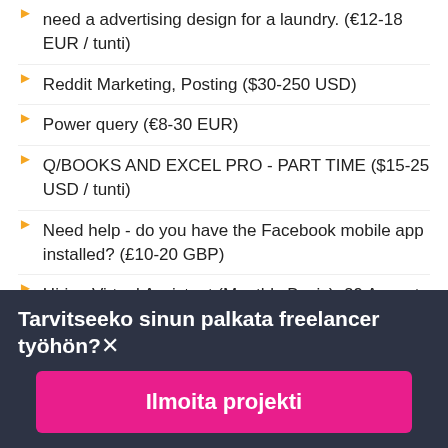need a advertising design for a laundry. (€12-18 EUR / tunti)
Reddit Marketing, Posting ($30-250 USD)
Power query (€8-30 EUR)
Q/BOOKS AND EXCEL PRO - PART TIME ($15-25 USD / tunti)
Need help - do you have the Facebook mobile app installed? (£10-20 GBP)
Hiring Virtual Assistant (Monthly Basis), 29 August ($8-15 CAD / tunti)
I need a virtual assistant ($250-750 USD)
Tarvitseeko sinun palkata freelancer työhön?
Ilmoita projekti